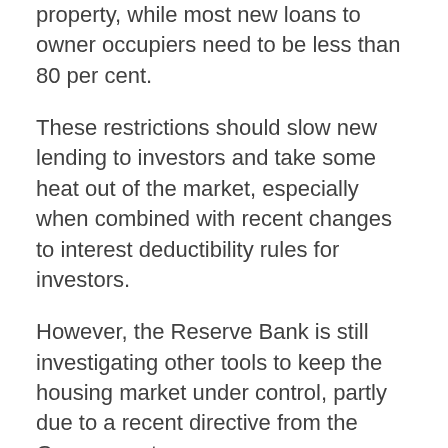property, while most new loans to owner occupiers need to be less than 80 per cent.
These restrictions should slow new lending to investors and take some heat out of the market, especially when combined with recent changes to interest deductibility rules for investors.
However, the Reserve Bank is still investigating other tools to keep the housing market under control, partly due to a recent directive from the Government.
It believes more LVR tightening is likely to have limited value, so the preferred option from here would be a debt serviceability tool, such as debt to income (DTI) restrictions.
A DTI limit would mean there is a maximum amount you can borrow, which would be a function of your income.
Further work on DTIs is taking place as we speak, so